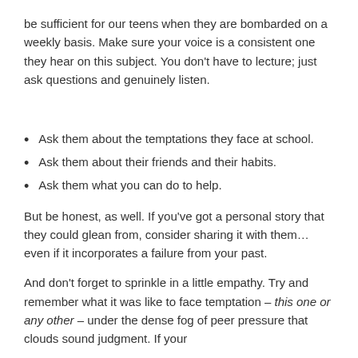be sufficient for our teens when they are bombarded on a weekly basis. Make sure your voice is a consistent one they hear on this subject. You don't have to lecture; just ask questions and genuinely listen.
Ask them about the temptations they face at school.
Ask them about their friends and their habits.
Ask them what you can do to help.
But be honest, as well. If you've got a personal story that they could glean from, consider sharing it with them…even if it incorporates a failure from your past.
And don't forget to sprinkle in a little empathy. Try and remember what it was like to face temptation – this one or any other – under the dense fog of peer pressure that clouds sound judgment. If your